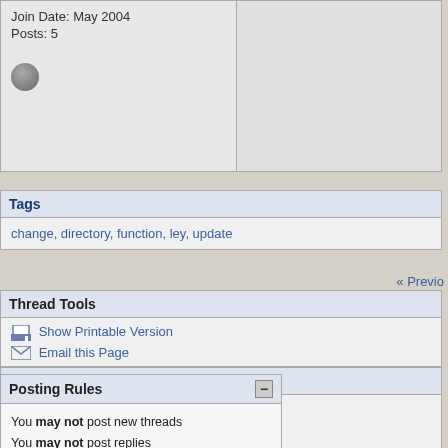Join Date: May 2004
Posts: 5
Tags
change, directory, function, ley, update
« Previo
Thread Tools
Show Printable Version
Email this Page
Display Modes
Linear Mode
Switch to Hybrid Mode
Switch to Threaded Mode
Posting Rules
You may not post new threads
You may not post replies
You may not post attachments
You may not edit your posts